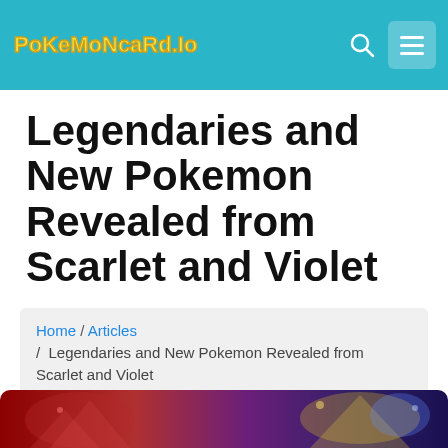PokemonCard.Io
Legendaries and New Pokemon Revealed from Scarlet and Violet
Home / Articles / Legendaries and New Pokemon Revealed from Scarlet and Violet
[Figure (illustration): Partial view of legendary Pokemon artwork from Pokemon Scarlet and Violet, showing colorful dragon-like legendary Pokemon on a dark background]